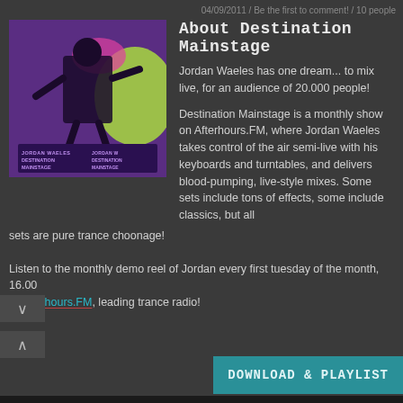04/09/2011 / Be the first to comment! / 10 people
[Figure (illustration): Album art for Jordan Waeles Destination Mainstage - purple/violet themed graphic with DJ figure on stage with text overlaid]
About Destination Mainstage
Jordan Waeles has one dream... to mix live, for an audience of 20.000 people!
Destination Mainstage is a monthly show on Afterhours.FM, where Jordan Waeles takes control of the air semi-live with his keyboards and turntables, and delivers blood-pumping, live-style mixes. Some sets include tons of effects, some include classics, but all sets are pure trance choonage!
Listen to the monthly demo reel of Jordan every first tuesday of the month, 16.00 of Afterhours.FM, leading trance radio!